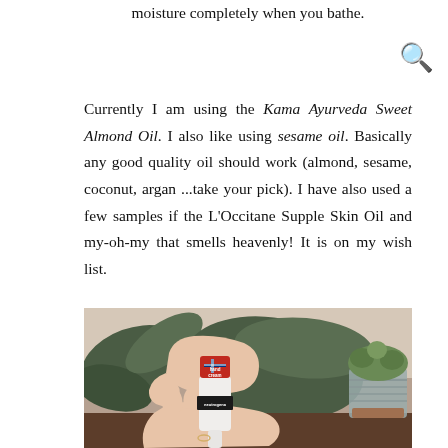moisture completely when you bathe.
Currently I am using the Kama Ayurveda Sweet Almond Oil. I also like using sesame oil. Basically any good quality oil should work (almond, sesame, coconut, argan ...take your pick). I have also used a few samples if the L'Occitane Supple Skin Oil and my-oh-my that smells heavenly! It is on my wish list.
[Figure (photo): A hand holding a small red and white tube of Neutrogena Norwegian Formula hand cream, with green plant leaves and a succulent in a grey pot visible in the background on a wooden surface.]